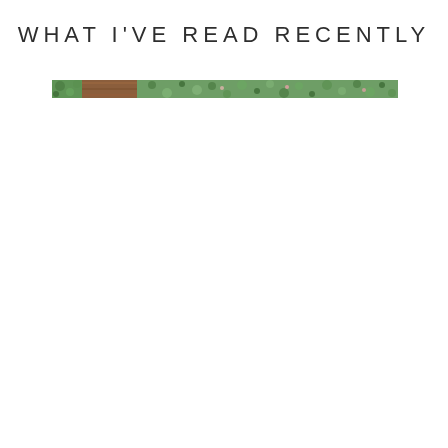WHAT I'VE READ RECENTLY
[Figure (illustration): A narrow horizontal decorative banner strip showing a woodland or garden scene with green foliage, flowers, and a brown tree trunk or log element on the left side. The image is a thin strip approximately 346px wide and 18px tall.]